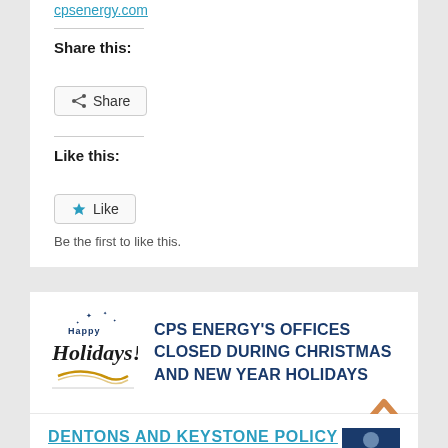cpsenergy.com.
Share this:
[Figure (other): Share button with share icon]
Like this:
[Figure (other): Like button with star icon]
Be the first to like this.
[Figure (illustration): Happy Holidays script logo with stars and gold swoosh]
CPS ENERGY'S OFFICES CLOSED DURING CHRISTMAS AND NEW YEAR HOLIDAYS
[Figure (other): Upward chevron/caret navigation arrow in orange]
DENTONS AND KEYSTONE POLICY
[Figure (photo): Thumbnail photo of a person]